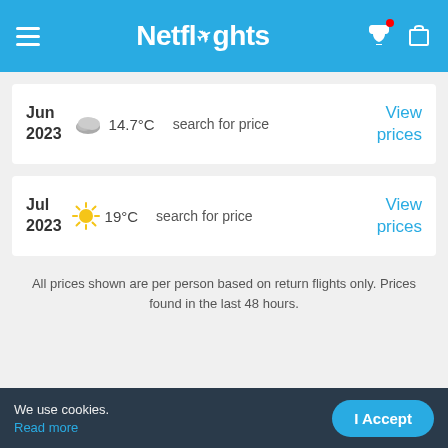Netflights
Jun 2023  14.7°C  search for price  View prices
Jul 2023  19°C  search for price  View prices
All prices shown are per person based on return flights only. Prices found in the last 48 hours.
The Edinburgh / Boseman route
We use cookies. Read more   I Accept